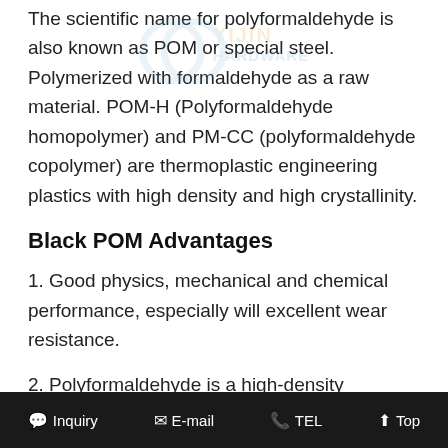The scientific name for polyformaldehyde is also known as POM or special steel. Polymerized with formaldehyde as a raw material. POM-H (Polyformaldehyde homopolymer) and PM-CC (polyformaldehyde copolymer) are thermoplastic engineering plastics with high density and high crystallinity.
Black POM Advantages
1. Good physics, mechanical and chemical performance, especially will excellent wear resistance.
2. Polyformaldehyde is a high-density crystalline polymer without a side chain and has excellent comprehensive properties.
3. Polyformaldehyde is a kind of hard and density material, with a smooth surface, shiny, light yellow or white, and can be used at -40-100°C for a long time.
Inquiry   E-mail   TEL   Top